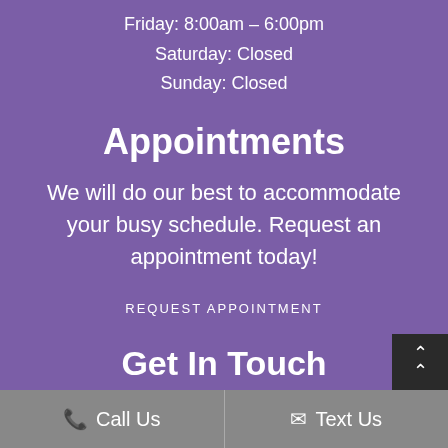Friday: 8:00am – 6:00pm
Saturday: Closed
Sunday: Closed
Appointments
We will do our best to accommodate your busy schedule. Request an appointment today!
REQUEST APPOINTMENT
Get In Touch
(207) 351-1530
Call Us
Text Us